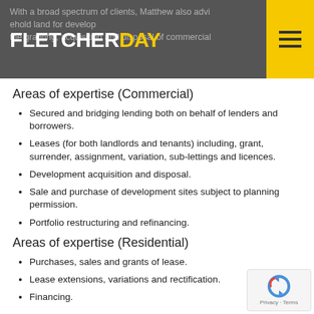With a broad spectrum of clients, Matthew also advi...ehold land for develop... the granting, acquisition and disposal of commercial...
Areas of expertise (Commercial)
Secured and bridging lending both on behalf of lenders and borrowers.
Leases (for both landlords and tenants) including, grant, surrender, assignment, variation, sub-lettings and licences.
Development acquisition and disposal.
Sale and purchase of development sites subject to planning permission.
Portfolio restructuring and refinancing.
Areas of expertise (Residential)
Purchases, sales and grants of lease.
Lease extensions, variations and rectification.
Financing.